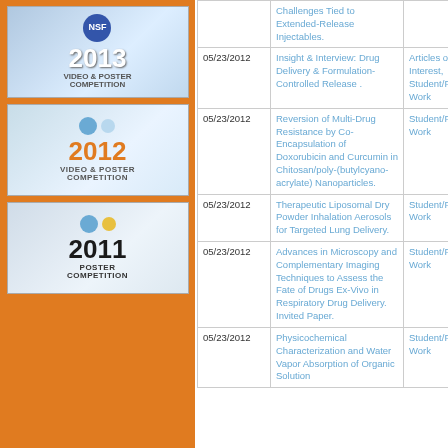[Figure (logo): NSF 2013 Video & Poster Competition badge with blue circle logo]
[Figure (logo): 2012 Video & Poster Competition badge with blue and yellow circles]
[Figure (logo): 2011 Poster Competition badge with blue and yellow circles]
| Date | Title | Category |
| --- | --- | --- |
| 05/23/2012 | Challenges Tied to Extended-Release Injectables. |  |
| 05/23/2012 | Insight & Interview: Drug Delivery & Formulation-Controlled Release . | Articles of Interest, Student/Faculty Work |
| 05/23/2012 | Reversion of Multi-Drug Resistance by Co-Encapsulation of Doxorubicin and Curcumin in Chitosan/poly-(butylcyano-acrylate) Nanoparticles. | Student/Faculty Work |
| 05/23/2012 | Therapeutic Liposomal Dry Powder Inhalation Aerosols for Targeted Lung Delivery. | Student/Faculty Work |
| 05/23/2012 | Advances in Microscopy and Complementary Imaging Techniques to Assess the Fate of Drugs Ex-Vivo in Respiratory Drug Delivery. Invited Paper. | Student/Faculty Work |
| 05/23/2012 | Physicochemical Characterization and Water Vapor Absorption of Organic Solution... | Student/Faculty Work |